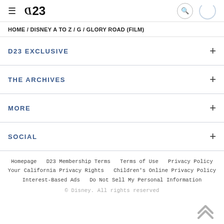≡ D23 [search] [spinner]
HOME / DISNEY A TO Z / G / GLORY ROAD (FILM)
D23 EXCLUSIVE
THE ARCHIVES
MORE
SOCIAL
Homepage  D23 Membership Terms  Terms of Use  Privacy Policy  Your California Privacy Rights  Children's Online Privacy Policy  Interest-Based Ads  Do Not Sell My Personal Information
© Disney. All rights reserved